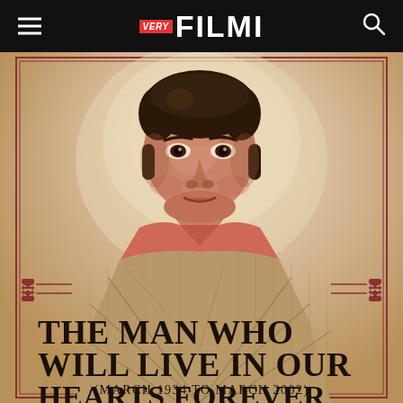VERY FILMI
[Figure (illustration): Illustrated/painted portrait of a man in a plaid jacket and red/salmon shirt, styled in a vintage Bollywood aesthetic, on a beige/cream textured background with decorative border frame and red ornamental elements]
THE MAN WHO WILL LIVE IN OUR HEARTS FOREVER
(MARCH 1934 TO MARCH 2002)